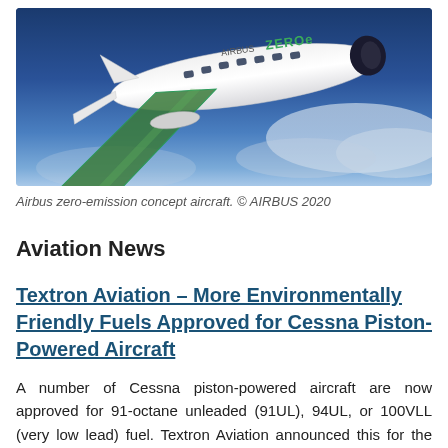[Figure (photo): Airbus ZEROe concept aircraft — a white aircraft with green and teal wing livery, flying over blue sky/clouds. The text 'AIRBUS ZEROe' is visible on the fuselage.]
Airbus zero-emission concept aircraft. © AIRBUS 2020
Aviation News
Textron Aviation – More Environmentally Friendly Fuels Approved for Cessna Piston-Powered Aircraft
A number of Cessna piston-powered aircraft are now approved for 91-octane unleaded (91UL), 94UL, or 100VLL (very low lead) fuel. Textron Aviation announced this for the Cessna 172 Skyhawk and 182 Skylane. The 206 Turbo Stationair HD aircraft is now approved for 100VLL. These